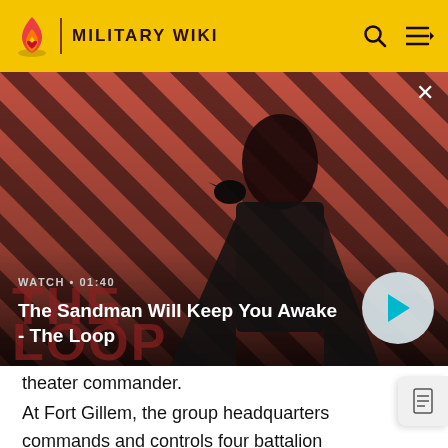MILITARY WIKI
[Figure (screenshot): Video thumbnail for 'The Sandman Will Keep You Awake - The Loop' showing a dark figure with a raven on a red diagonal striped background. Watch label and duration 01:40 shown. Play button overlay on right.]
theater commander.
At Fort Gillem, the group headquarters commands and controls four battalion headquarters and 39 companies geographically separated throughout the United States. The group also runs the U.S. Army Very Important Persons